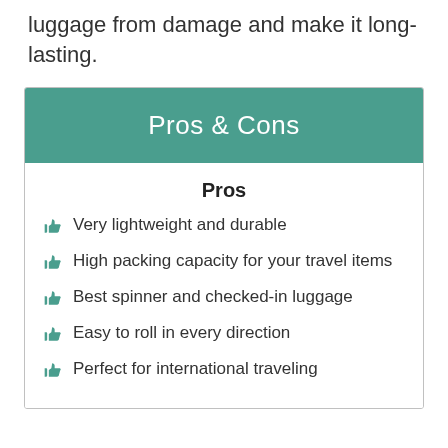luggage from damage and make it long-lasting.
| Pros & Cons |
| --- |
| Pros |
| Very lightweight and durable |
| High packing capacity for your travel items |
| Best spinner and checked-in luggage |
| Easy to roll in every direction |
| Perfect for international traveling |